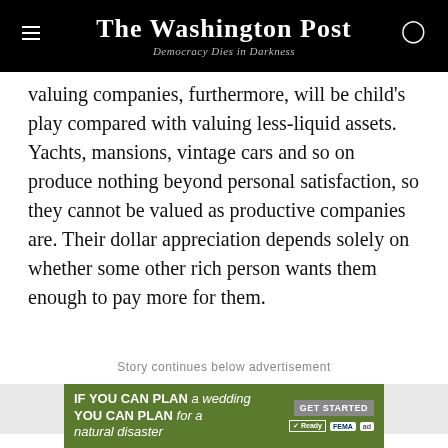The Washington Post — Democracy Dies in Darkness
valuing companies, furthermore, will be child's play compared with valuing less-liquid assets. Yachts, mansions, vintage cars and so on produce nothing beyond personal satisfaction, so they cannot be valued as productive companies are. Their dollar appreciation depends solely on whether some other rich person wants them enough to pay more for them.
Story continues below advertisement
[Figure (other): Advertisement banner: green background with text 'IF YOU CAN PLAN A WEDDING YOU CAN PLAN FOR A NATURAL DISASTER' with GET STARTED button and Ready, FEMA, ad logos]